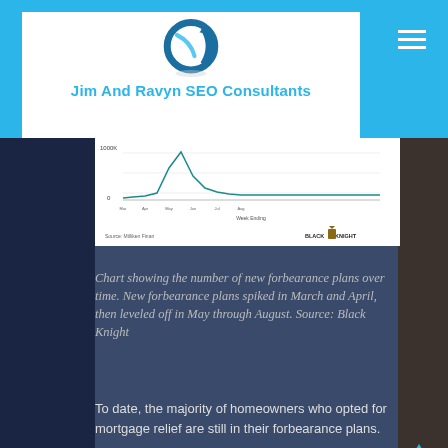[Figure (logo): Jim And Ravyn SEO Consultants logo with circular arrow graphic]
Jim And Ravyn SEO Consultants
[Figure (continuous-plot): Chart showing the number of new forbearance plans over time with a spike in March/April 2020 then leveling off through August. Source: Black Knight / Milliken Finan.]
Chart showing the number of new forbearance plans over time. New forbearance plans spiked in March and April, then leveled off in May through August. Source: Black Knight
To date, the majority of homeowners who opted for mortgage relief are still in their forbearance plans.